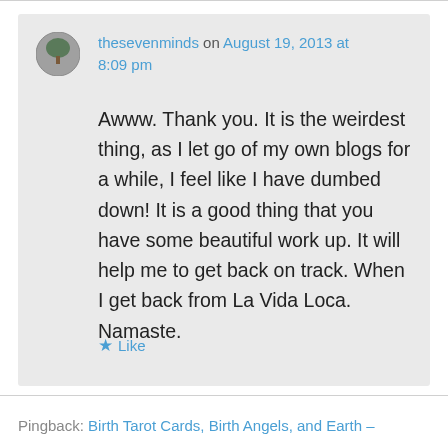thesevenminds on August 19, 2013 at 8:09 pm
Awww. Thank you. It is the weirdest thing, as I let go of my own blogs for a while, I feel like I have dumbed down! It is a good thing that you have some beautiful work up. It will help me to get back on track. When I get back from La Vida Loca. Namaste.
Like
Pingback: Birth Tarot Cards, Birth Angels, and Earth –